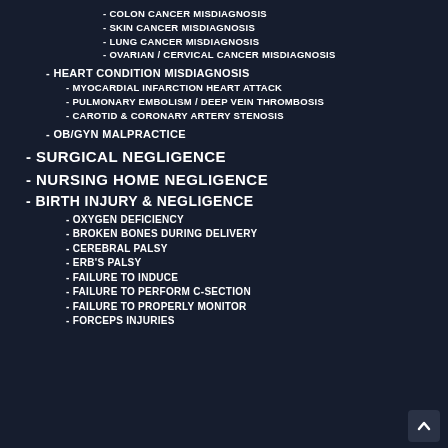- COLON CANCER MISDIAGNOSIS
- SKIN CANCER MISDIAGNOSIS
- LUNG CANCER MISDIAGNOSIS
- OVARIAN / CERVICAL CANCER MISDIAGNOSIS
- HEART CONDITION MISDIAGNOSIS
- MYOCARDIAL INFARCTION HEART ATTACK
- PULMONARY EMBOLISM / DEEP VEIN THROMBOSIS
- CAROTID & CORONARY ARTERY STENOSIS
- OB/GYN MALPRACTICE
- SURGICAL NEGLIGENCE
- NURSING HOME NEGLIGENCE
- BIRTH INJURY & NEGLIGENCE
- OXYGEN DEFICIENCY
- BROKEN BONES DURING DELIVERY
- CEREBRAL PALSY
- ERB'S PALSY
- FAILURE TO INDUCE
- FAILURE TO PERFORM C-SECTION
- FAILURE TO PROPERLY MONITOR
- FORCEPS INJURIES